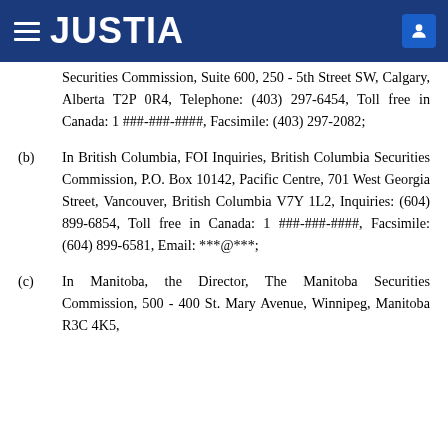JUSTIA
(a) In Alberta, the FOI Administrator, Alberta Securities Commission, Suite 600, 250 - 5th Street SW, Calgary, Alberta T2P 0R4, Telephone: (403) 297-6454, Toll free in Canada: 1 ###-###-####, Facsimile: (403) 297-2082;
(b) In British Columbia, FOI Inquiries, British Columbia Securities Commission, P.O. Box 10142, Pacific Centre, 701 West Georgia Street, Vancouver, British Columbia V7Y 1L2, Inquiries: (604) 899-6854, Toll free in Canada: 1 ###-###-####, Facsimile: (604) 899-6581, Email: ***@***;
(c) In Manitoba, the Director, The Manitoba Securities Commission, 500 - 400 St. Mary Avenue, Winnipeg, Manitoba R3C 4K5,